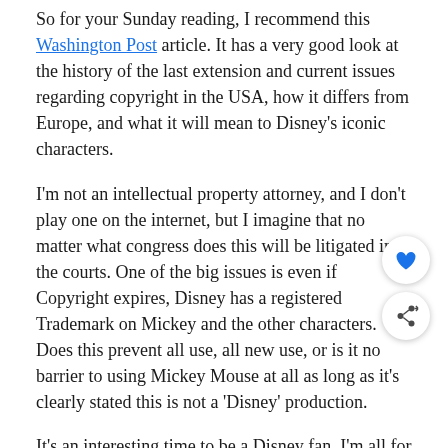So for your Sunday reading, I recommend this Washington Post article. It has a very good look at the history of the last extension and current issues regarding copyright in the USA, how it differs from Europe, and what it will mean to Disney's iconic characters.
I'm not an intellectual property attorney, and I don't play one on the internet, but I imagine that no matter what congress does this will be litigated in the courts. One of the big issues is even if Copyright expires, Disney has a registered Trademark on Mickey and the other characters. Does this prevent all use, all new use, or is it no barrier to using Mickey Mouse at all as long as it's clearly stated this is not a 'Disney' production.
It's an interesting time to be a Disney fan. I'm all for reducing copyright terms, but I'm also protective of Mickey Mouse and would hate to see him used in ways that would